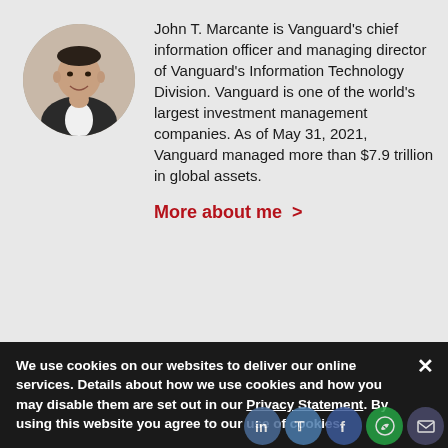[Figure (photo): Circular headshot photo of John T. Marcante, a middle-aged man in a dark suit with white shirt, smiling]
John T. Marcante is Vanguard's chief information officer and managing director of Vanguard's Information Technology Division. Vanguard is one of the world's largest investment management companies. As of May 31, 2021, Vanguard managed more than $7.9 trillion in global assets.
More about me >
We use cookies on our websites to deliver our online services. Details about how we use cookies and how you may disable them are set out in our Privacy Statement. By using this website you agree to our use of cookies.